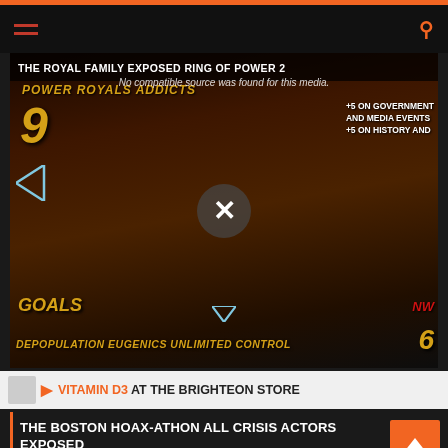[Figure (screenshot): Navigation bar with hamburger menu icon in orange/red and search icon on dark background, with orange top bar]
THE ROYAL FAMILY EXPOSED RING OF POWER 2
[Figure (screenshot): Video player showing conspiracy theory content with skulls imagery, text about depopulation eugenics unlimited control, NWO text, goals section numbered 9 and 6, dark background. No compatible source was found for this media.]
VITAMIN D3 AT THE BRIGHTEON STORE
THE BOSTON HOAX-ATHON ALL CRISIS ACTORS EXPOSED
THE BOSTON HOAX-ATHON BANNED FROM YOUTUBE